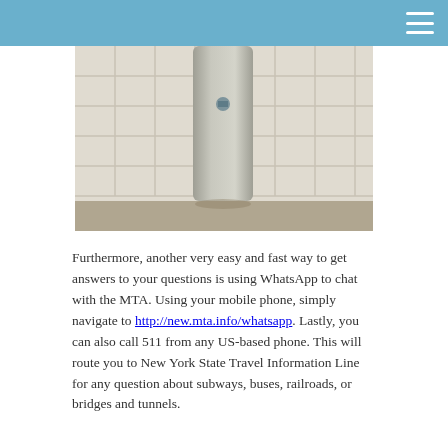[Figure (photo): A photo of a transit kiosk or intercom station mounted against white tiled wall in a subway station]
Furthermore, another very easy and fast way to get answers to your questions is using WhatsApp to chat with the MTA. Using your mobile phone, simply navigate to http://new.mta.info/whatsapp. Lastly, you can also call 511 from any US-based phone. This will route you to New York State Travel Information Line for any question about subways, buses, railroads, or bridges and tunnels.